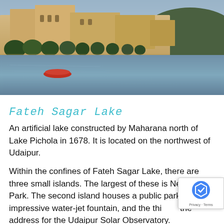[Figure (photo): A lakeside view of Udaipur showing ornate historic palace buildings and temples on a hillside, with dense green trees below, reflected in the calm lake water. A small red boat is visible in the foreground water. A green hill is visible on the right.]
Fateh Sagar Lake
An artificial lake constructed by Maharana north of Lake Pichola in 1678. It is located on the northwest of Udaipur.
Within the confines of Fateh Sagar Lake, there are three small islands. The largest of these is Nehru Park. The second island houses a public park with an impressive water-jet fountain, and the third is the address for the Udaipur Solar Observatory.